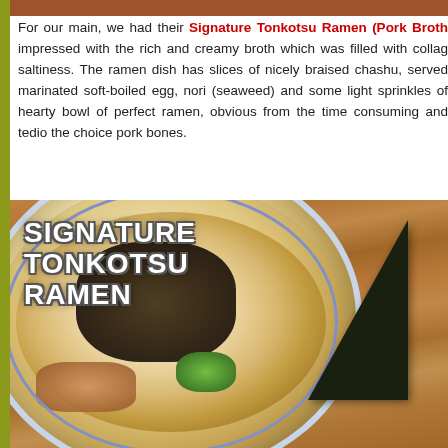For our main, we had their Signature Tonkotsu Ramen (Pork Broth) impressed with the rich and creamy broth which was filled with collagen saltiness. The ramen dish has slices of nicely braised chashu, served marinated soft-boiled egg, nori (seaweed) and some light sprinkles of hearty bowl of perfect ramen, obvious from the time consuming and tedious the choice pork bones.
[Figure (photo): Close-up photo of Signature Tonkotsu Ramen in a blue-patterned bowl, showing creamy pork broth with a large nori (seaweed) sheet, braised chashu pork, dark mushroom/bamboo shoot toppings, and green onions. Text overlay reads 'SIGNATURE TONKOTSU RAMEN'.]